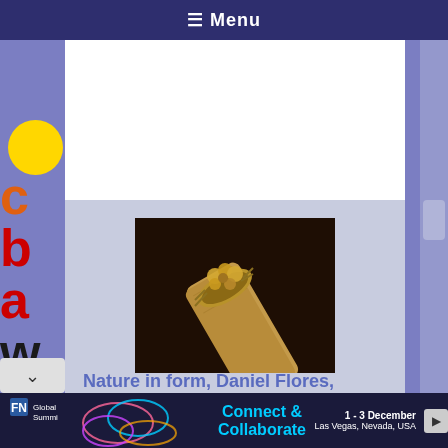☰ Menu
[Figure (logo): Yellow circle and partial letters 'c', 'b', 'a', 'w' in orange, red, and dark colors forming a website logo on the left sidebar]
[Figure (photo): Close-up photo of a gold sculptural ring (nature-themed, flower or animal form) placed on a wooden stick/branch against a dark brown background]
Nature in form, Daniel Flores,
Global Summit | Connect & Collaborate | 1 - 3 December | Las Vegas, Nevada, USA